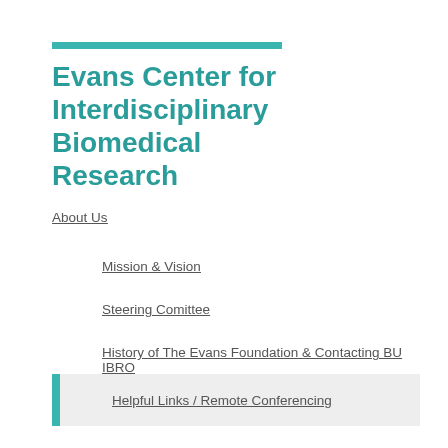Evans Center for Interdisciplinary Biomedical Research
About Us
Mission & Vision
Steering Comittee
History of The Evans Foundation & Contacting BU IBRO
Helpful Links / Remote Conferencing